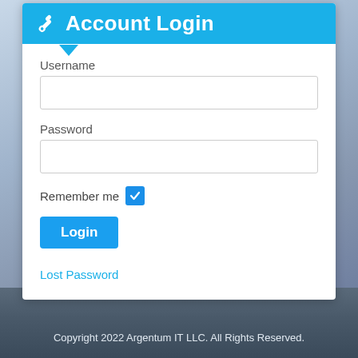Account Login
Username
Password
Remember me
Login
Lost Password
Copyright 2022 Argentum IT LLC. All Rights Reserved.